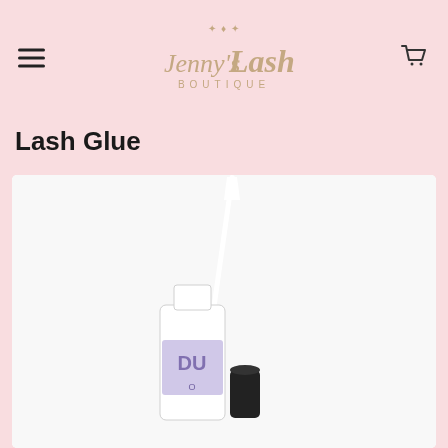Jenny's Lash Boutique
Lash Glue
[Figure (photo): A lash glue product bottle (DUO brand) with applicator brush, shown with cap off and cap beside the bottle, on white background]